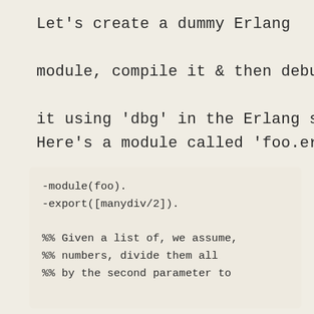Let's create a dummy Erlang module, compile it & then debug it using 'dbg' in the Erlang shell. Here's a module called 'foo.erl' :
-module(foo).
-export([manydiv/2]).

%% Given a list of, we assume,
%% numbers, divide them all
%% by the second parameter to